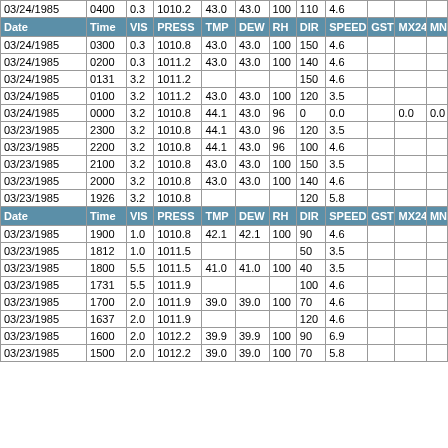| Date | Time | VIS | PRESS | TMP | DEW | RH | DIR | SPEED | GST | MX24 | MN |
| --- | --- | --- | --- | --- | --- | --- | --- | --- | --- | --- | --- |
| 03/24/1985 | 0400 | 0.3 | 1010.2 | 43.0 | 43.0 | 100 | 110 | 4.6 |  |  |  |
| Date | Time | VIS | PRESS | TMP | DEW | RH | DIR | SPEED | GST | MX24 | MN |
| 03/24/1985 | 0300 | 0.3 | 1010.8 | 43.0 | 43.0 | 100 | 150 | 4.6 |  |  |  |
| 03/24/1985 | 0200 | 0.3 | 1011.2 | 43.0 | 43.0 | 100 | 140 | 4.6 |  |  |  |
| 03/24/1985 | 0131 | 3.2 | 1011.2 |  |  |  | 150 | 4.6 |  |  |  |
| 03/24/1985 | 0100 | 3.2 | 1011.2 | 43.0 | 43.0 | 100 | 120 | 3.5 |  |  |  |
| 03/24/1985 | 0000 | 3.2 | 1010.8 | 44.1 | 43.0 | 96 | 0 | 0.0 |  | 0.0 | 0.0 |
| 03/23/1985 | 2300 | 3.2 | 1010.8 | 44.1 | 43.0 | 96 | 120 | 3.5 |  |  |  |
| 03/23/1985 | 2200 | 3.2 | 1010.8 | 44.1 | 43.0 | 96 | 100 | 4.6 |  |  |  |
| 03/23/1985 | 2100 | 3.2 | 1010.8 | 43.0 | 43.0 | 100 | 150 | 3.5 |  |  |  |
| 03/23/1985 | 2000 | 3.2 | 1010.8 | 43.0 | 43.0 | 100 | 140 | 4.6 |  |  |  |
| 03/23/1985 | 1926 | 3.2 | 1010.8 |  |  |  | 120 | 5.8 |  |  |  |
| Date | Time | VIS | PRESS | TMP | DEW | RH | DIR | SPEED | GST | MX24 | MN |
| 03/23/1985 | 1900 | 1.0 | 1010.8 | 42.1 | 42.1 | 100 | 90 | 4.6 |  |  |  |
| 03/23/1985 | 1812 | 1.0 | 1011.5 |  |  |  | 50 | 3.5 |  |  |  |
| 03/23/1985 | 1800 | 5.5 | 1011.5 | 41.0 | 41.0 | 100 | 40 | 3.5 |  |  |  |
| 03/23/1985 | 1731 | 5.5 | 1011.9 |  |  |  | 100 | 4.6 |  |  |  |
| 03/23/1985 | 1700 | 2.0 | 1011.9 | 39.0 | 39.0 | 100 | 70 | 4.6 |  |  |  |
| 03/23/1985 | 1637 | 2.0 | 1011.9 |  |  |  | 120 | 4.6 |  |  |  |
| 03/23/1985 | 1600 | 2.0 | 1012.2 | 39.9 | 39.9 | 100 | 90 | 6.9 |  |  |  |
| 03/23/1985 | 1500 | 2.0 | 1012.2 | 39.0 | 39.0 | 100 | 70 | 5.8 |  |  |  |